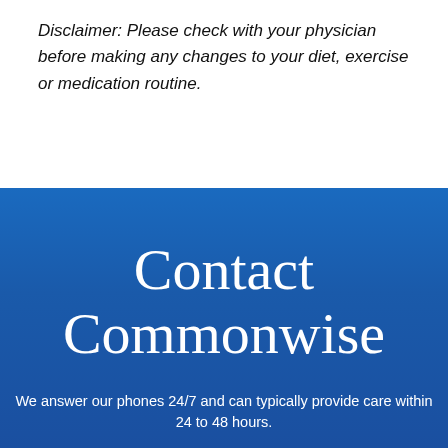Disclaimer: Please check with your physician before making any changes to your diet, exercise or medication routine.
Contact Commonwise
We answer our phones 24/7 and can typically provide care within 24 to 48 hours.